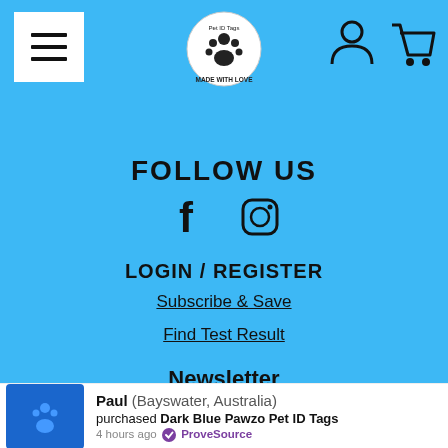[Figure (screenshot): Website navigation bar with hamburger menu on left, Pet ID Tags logo in center, user and cart icons on right, on blue background]
FOLLOW US
[Figure (illustration): Social media icons: Facebook (f) and Instagram camera icon]
LOGIN / REGISTER
Subscribe & Save
Find Test Result
Newsletter
Email Address
Paul (Bayswater, Australia) purchased Dark Blue Pawzo Pet ID Tags 4 hours ago ProveSource